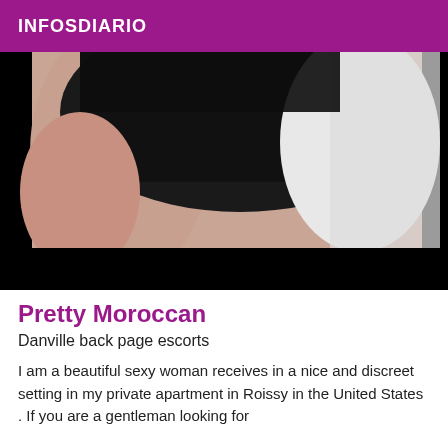INFOSDIARIO
[Figure (photo): Close-up photo of a person wearing black lace lingerie against a white background, lower half of image is black.]
Pretty Moroccan
Danville back page escorts
I am a beautiful sexy woman receives in a nice and discreet setting in my private apartment in Roissy in the United States . If you are a gentleman looking for